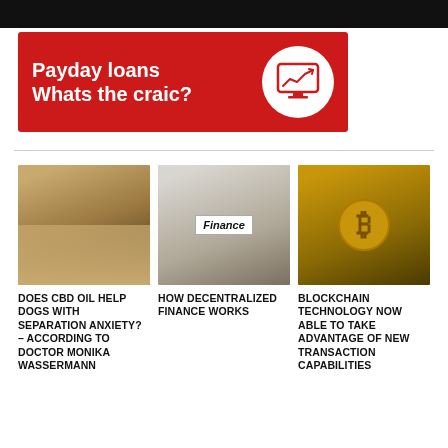[Figure (photo): Top black banner strip]
[Figure (infographic): Red banner ad: Payday loans Whats the craic? with monitor icon showing upward trend chart]
[Figure (photo): Three article thumbnail images in a row: dog being given medicine, glass jar with Finance label, bitcoin coin]
DOES CBD OIL HELP DOGS WITH SEPARATION ANXIETY? – ACCORDING TO DOCTOR MONIKA WASSERMANN
HOW DECENTRALIZED FINANCE WORKS
BLOCKCHAIN TECHNOLOGY NOW ABLE TO TAKE ADVANTAGE OF NEW TRANSACTION CAPABILITIES